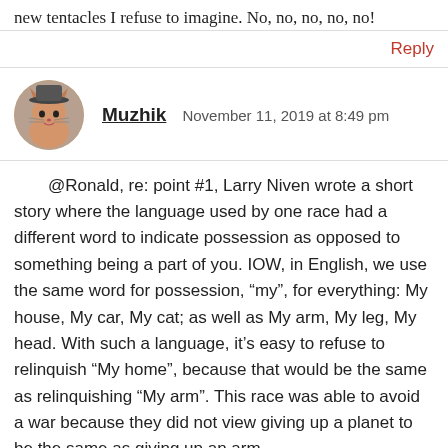new tentacles I refuse to imagine. No, no, no, no, no!
Reply
[Figure (photo): Avatar photo of a cat wearing a hat, circular crop]
Muzhik  November 11, 2019 at 8:49 pm
@Ronald, re: point #1, Larry Niven wrote a short story where the language used by one race had a different word to indicate possession as opposed to something being a part of you. IOW, in English, we use the same word for possession, “my”, for everything: My house, My car, My cat; as well as My arm, My leg, My head. With such a language, it’s easy to refuse to relinquish “My home”, because that would be the same as relinquishing “My arm”. This race was able to avoid a war because they did not view giving up a planet to be the same as giving up an arm.
@TB, are you suggesting that the gun was in fact, a